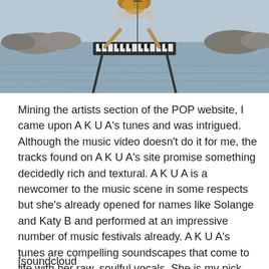[Figure (photo): A musician with curly hair playing a keyboard synthesizer on a stand outdoors near water, wearing a light blue shirt. The background shows rocks and a calm body of water reflecting the sky in muted blue-grey tones.]
Mining the artists section of the POP website, I came upon A K U A's tunes and was intrigued. Although the music video doesn't do it for me, the tracks found on A K U A's site promise something decidedly rich and textural. A K U A is a newcomer to the music scene in some respects but she's already opened for names like Solange and Katy B and performed at an impressive number of music festivals already. A K U A's tunes are compelling soundscapes that come to life with her raw, soulful vocals. She is my pick for new artist to explore (for those on a tight budget) for this POP edition.
[soundcloud